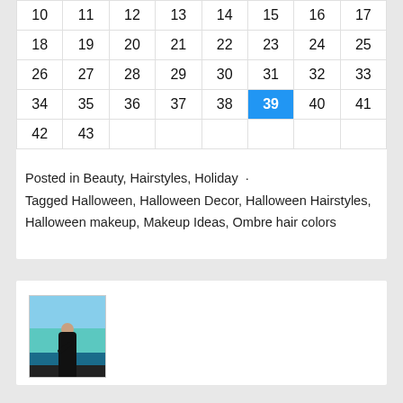| 10 | 11 | 12 | 13 | 14 | 15 | 16 | 17 |
| 18 | 19 | 20 | 21 | 22 | 23 | 24 | 25 |
| 26 | 27 | 28 | 29 | 30 | 31 | 32 | 33 |
| 34 | 35 | 36 | 37 | 38 | 39 | 40 | 41 |
| 42 | 43 |  |  |  |  |  |  |
Posted in Beauty, Hairstyles, Holiday · Tagged Halloween, Halloween Decor, Halloween Hairstyles, Halloween makeup, Makeup Ideas, Ombre hair colors
[Figure (photo): A person standing near a turquoise body of water with mountains in background, wearing dark clothing]